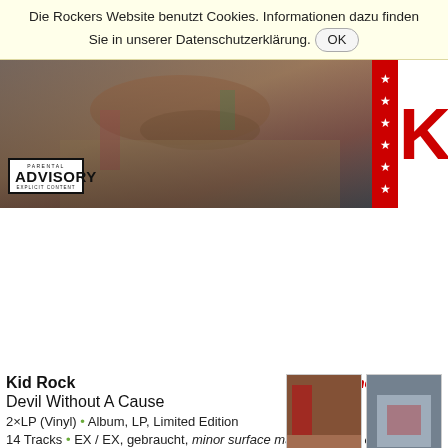Die Rockers Website benutzt Cookies. Informationen dazu finden Sie in unserer Datenschutzerklärung. OK
[Figure (photo): Banner image of Kid Rock album artwork with hands and colorful items in background. Parental Advisory Explicit Content label at lower left. Red stars stripe and red 'KI' lettering on right side.]
[Figure (photo): Two small thumbnail images of the album cover and a second image]
Kid Rock
Leider schon verkauft
Devil Without A Cause
2×LP (Vinyl) • Album, LP, Limited Edition
14 Tracks • EX / EX, gebraucht, minor surface marks on vinyl, edge wear / shelf wear on cover • USA 1999 • Atlantic, (83119-1), Lava, (83119-1), Top Dog Records, (83119-1) • UPC 075678311918 • abweichendes Gewicht: 380g